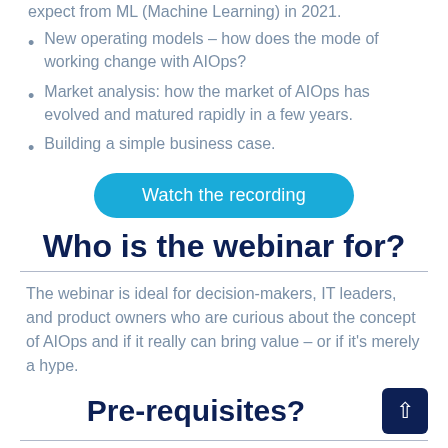expect from ML (Machine Learning) in 2021.
New operating models – how does the mode of working change with AIOps?
Market analysis: how the market of AIOps has evolved and matured rapidly in a few years.
Building a simple business case.
[Figure (other): Blue rounded button labeled 'Watch the recording']
Who is the webinar for?
The webinar is ideal for decision-makers, IT leaders, and product owners who are curious about the concept of AIOps and if it really can bring value – or if it's merely a hype.
Pre-requisites?
We ...